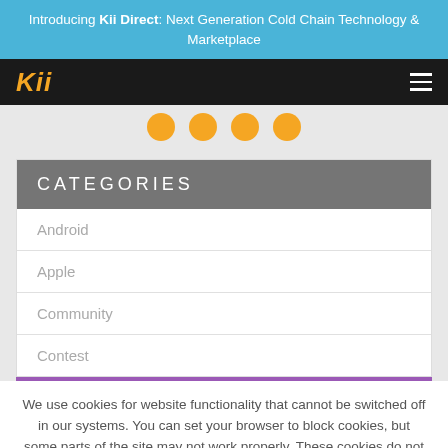Introducing Kii Direct: Next Generation Cold Chain Technology & Marketplace
[Figure (logo): Kii logo in orange italic text on dark nav bar with hamburger menu icon]
[Figure (illustration): Four orange circles in a row on light grey background]
CATEGORIES
Android
Apple
Community
Contest
We use cookies for website functionality that cannot be switched off in our systems. You can set your browser to block cookies, but some parts of the site may not work properly. These cookies do not store any personally identifiable information. See this page for further information. Hide this message.